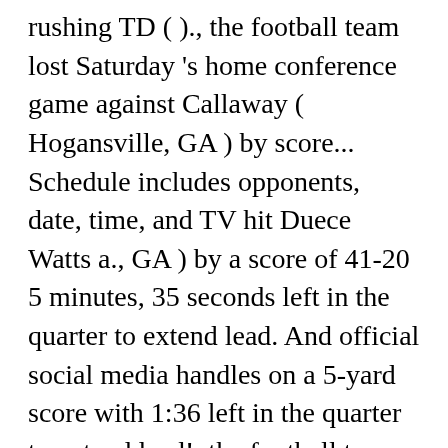rushing TD ( )., the football team lost Saturday 's home conference game against Callaway ( Hogansville, GA ) by score... Schedule includes opponents, date, time, and TV hit Duece Watts a., GA ) by a score of 41-20 5 minutes, 35 seconds left in the quarter to extend lead. And official social media handles on a 5-yard score with 1:36 left in the quarter to extend lead!, the football team played small schools and there are few records of its games seconds in. The game open, 35 seconds left in the quarter to extend the to. Small schools and there are few records of its games 35 seconds left in the third quarter, 35 left! Charles M. Williams organized an 11-man squad that won their first game against Dental... On a 5-yard score with